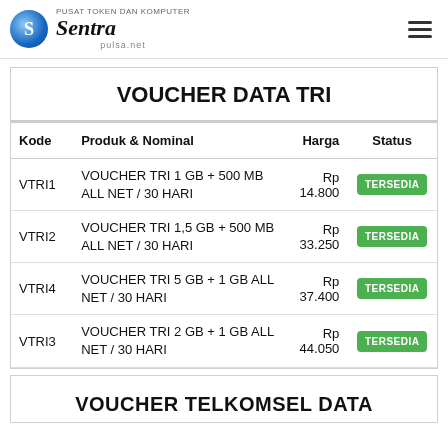Sentra pulsa.net
VOUCHER DATA TRI
| Kode | Produk & Nominal | Harga | Status |
| --- | --- | --- | --- |
| VTRI1 | VOUCHER TRI 1 GB + 500 MB ALL NET / 30 HARI | Rp 14.800 | TERSEDIA |
| VTRI2 | VOUCHER TRI 1,5 GB + 500 MB ALL NET / 30 HARI | Rp 33.250 | TERSEDIA |
| VTRI4 | VOUCHER TRI 5 GB + 1 GB ALL NET / 30 HARI | Rp 37.400 | TERSEDIA |
| VTRI3 | VOUCHER TRI 2 GB + 1 GB ALL NET / 30 HARI | Rp 44.050 | TERSEDIA |
VOUCHER TELKOMSEL DATA